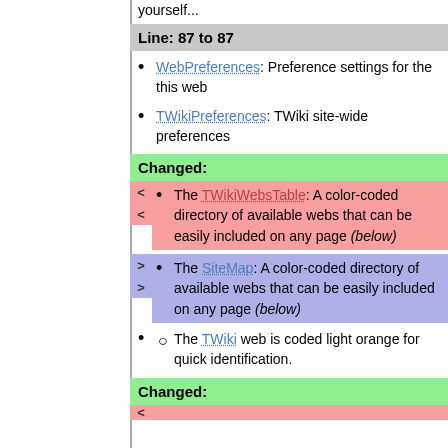yourself...
Line: 87 to 87
WebPreferences: Preference settings for the this web
TWikiPreferences: TWiki site-wide preferences
Changed:
The TWikiWebsTable: A color-coded directory of available webs that can be easily included on any page (below)
The SiteMap: A color-coded directory of available webs that can be easily included on any page (below)
The TWiki web is coded light orange for quick identification.
Changed: